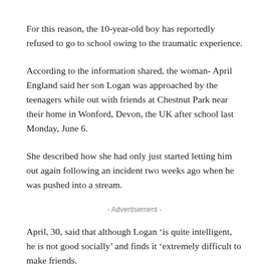For this reason, the 10-year-old boy has reportedly refused to go to school owing to the traumatic experience.
According to the information shared, the woman- April England said her son Logan was approached by the teenagers while out with friends at Chestnut Park near their home in Wonford, Devon, the UK after school last Monday, June 6.
She described how she had only just started letting him out again following an incident two weeks ago when he was pushed into a stream.
- Advertisement -
April, 30, said that although Logan ‘is quite intelligent, he is not good socially’ and finds it ‘extremely difficult to make friends.